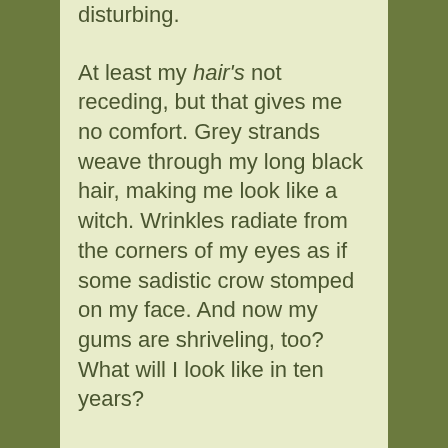disturbing.
At least my hair's not receding, but that gives me no comfort. Grey strands weave through my long black hair, making me look like a witch. Wrinkles radiate from the corners of my eyes as if some sadistic crow stomped on my face. And now my gums are shriveling, too? What will I look like in ten years?
Then I realize it doesn't matter. I doubt I'll even be here.